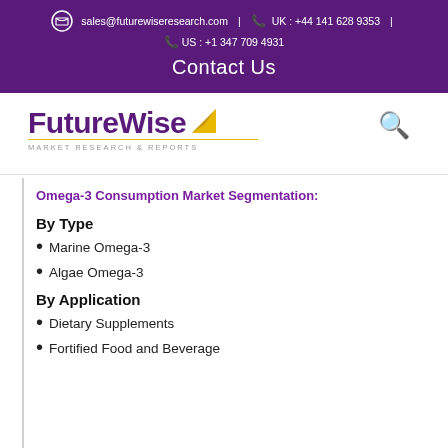sales@futurewiseresearch.com | UK : +44 141 628 9353 | US : +1 347 709 4931 | Contact Us
[Figure (logo): FutureWise Market Research & Reports logo with yellow arrow and search icon]
Omega-3 Consumption Market Segmentation:
By Type
Marine Omega-3
Algae Omega-3
By Application
Dietary Supplements
Fortified Food and Beverage